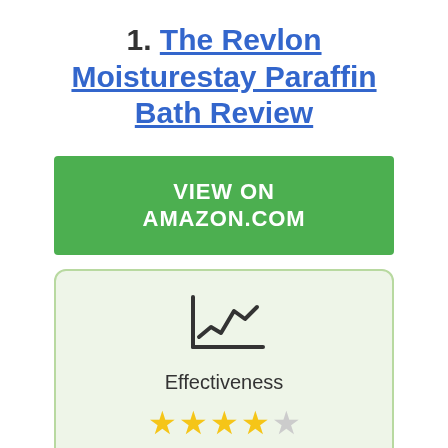1. The Revlon Moisturestay Paraffin Bath Review
[Figure (other): Green button labeled VIEW ON AMAZON.COM]
[Figure (infographic): Rating card with line chart icon, label 'Effectiveness', and 4 out of 5 star rating]
Effectiveness
★★★★☆